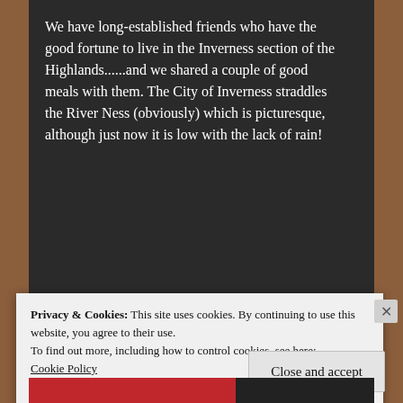We have long-established friends who have the good fortune to live in the Inverness section of the Highlands......and we shared a couple of good meals with them. The City of Inverness straddles the River Ness (obviously) which is picturesque, although just now it is low with the lack of rain!
[Figure (other): Red promotional banner for a web reading service with text 'The best stories on the web – ours, and everyone else's.' and a 'Start reading' button]
Privacy & Cookies: This site uses cookies. By continuing to use this website, you agree to their use.
To find out more, including how to control cookies, see here:
Cookie Policy